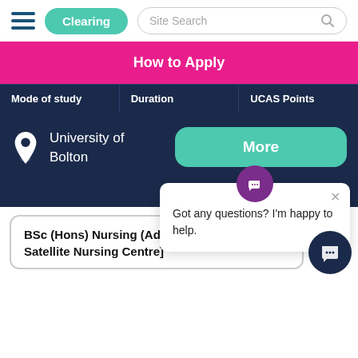[Figure (screenshot): Navigation bar with hamburger menu, teal Clearing button, and site search box]
How to Apply
| Mode of study | Duration | UCAS Points |
| --- | --- | --- |
University of Bolton
More
Got any questions? I'm happy to help.
BSc (Hons) Nursing (Adult) [Bradford Satellite Nursing Centre]